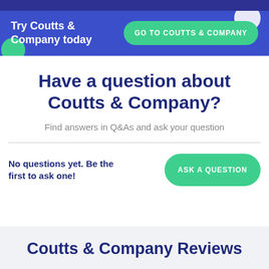Try Coutts & Company today
GO TO COUTTS & COMPANY
Have a question about Coutts & Company?
Find answers in Q&As and ask your question
No questions yet. Be the first to ask one!
ASK A QUESTION
Coutts & Company Reviews